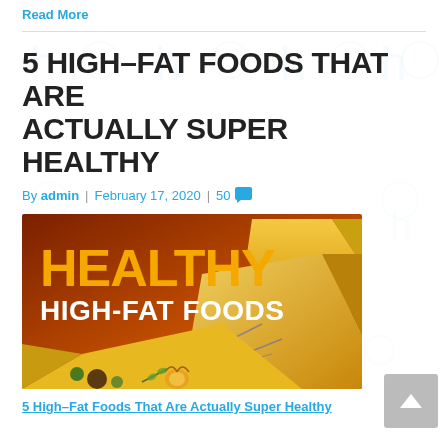Read More
5 HIGH-FAT FOODS THAT ARE ACTUALLY SUPER HEALTHY
By admin | February 17, 2020 | 50
[Figure (photo): Photo of cheese blocks and nuts on a brown/orange background with text overlay: 'HEALTHY HIGH-FAT FOODS']
5 High-Fat Foods That Are Actually Super Healthy